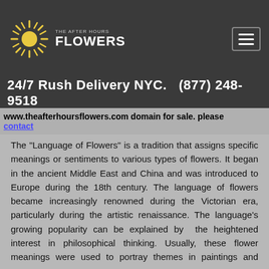THE AFTER HOURS FLOWERS — 24/7 Rush Delivery NYC. (877) 248-9518
www.theafterhoursflowers.com domain for sale. please contact
The "Language of Flowers" is a tradition that assigns specific meanings or sentiments to various types of flowers. It began in the ancient Middle East and China and was introduced to Europe during the 18th century. The language of flowers became increasingly renowned during the Victorian era, particularly during the artistic renaissance. The language's growing popularity can be explained by the heightened interest in philosophical thinking. Usually, these flower meanings were used to portray themes in paintings and poems.
In this week's painting by Edwin Long, an English artist...